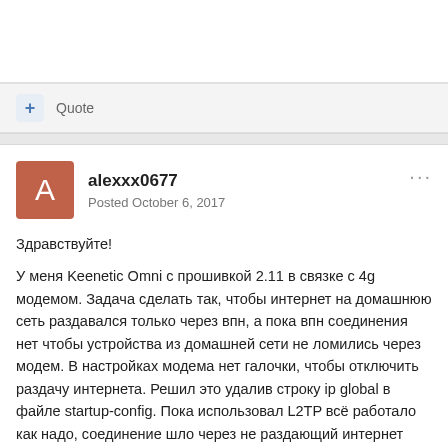Quote
alexxx0677
Posted October 6, 2017
Здравствуйте!

У меня Keenetic Omni с прошивкой 2.11 в связке с 4g модемом. Задача сделать так, чтобы интернет на домашнюю сеть раздавался только через впн, а пока впн соединения нет чтобы устройства из домашней сети не ломились через модем. В настройках модема нет галочки, чтобы отключить раздачу интернета. Решил это удалив строку ip global в файле startup-config. Пока использовал L2TP всё работало как надо, соединение шло через не раздающий интернет модем, весь остальной трафик ждал установления соединение.